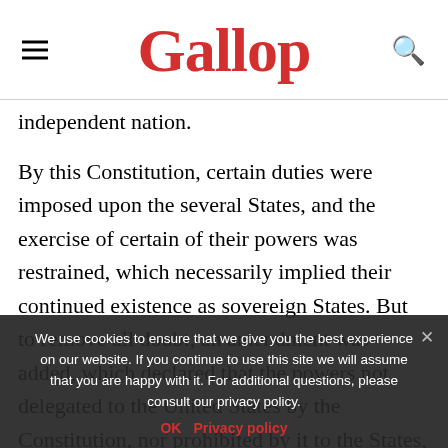Gallop
independent nation.
By this Constitution, certain duties were imposed upon the several States, and the exercise of certain of their powers was restrained, which necessarily implied their continued existence as sovereign States. But to remove all doubt, an amendment was added, which declared that the powers not delegated to the United States by the Constitution, nor prohibited by it to the States, are reserved to the States, respectively, or to the people. On the 23d May, 1788, South Carolina, by a Convention
We use cookies to ensure that we give you the best experience on our website. If you continue to use this site we will assume that you are happy with it. For additional questions, please consult our privacy policy.